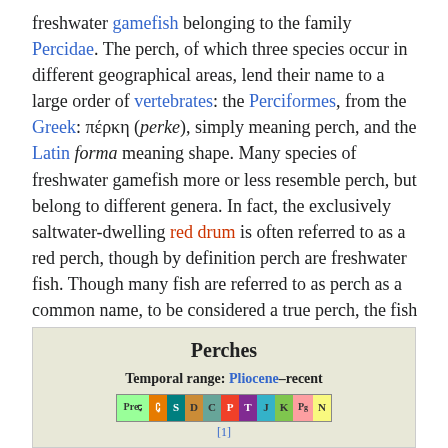freshwater gamefish belonging to the family Percidae. The perch, of which three species occur in different geographical areas, lend their name to a large order of vertebrates: the Perciformes, from the Greek: πέρκη (perke), simply meaning perch, and the Latin forma meaning shape. Many species of freshwater gamefish more or less resemble perch, but belong to different genera. In fact, the exclusively saltwater-dwelling red drum is often referred to as a red perch, though by definition perch are freshwater fish. Though many fish are referred to as perch as a common name, to be considered a true perch, the fish must be of the family Percidae.
| Perches |
| --- |
| Temporal range: Pliocene–recent |
| [geological bar chart] |
| [1] |